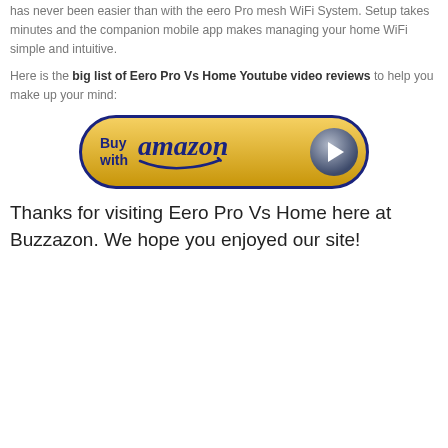has never been easier than with the eero Pro mesh WiFi System. Setup takes minutes and the companion mobile app makes managing your home WiFi simple and intuitive.
Here is the big list of Eero Pro Vs Home Youtube video reviews to help you make up your mind:
[Figure (other): Amazon buy button - golden pill-shaped button with dark blue border reading 'Buy with amazon' and a play button icon on the right]
Thanks for visiting Eero Pro Vs Home here at Buzzazon. We hope you enjoyed our site!